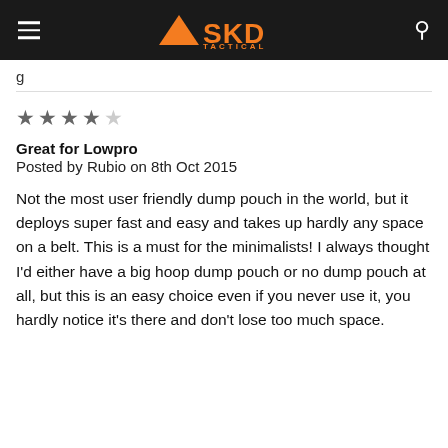SKD TACTICAL
g
Great for Lowpro
Posted by Rubio on 8th Oct 2015
Not the most user friendly dump pouch in the world, but it deploys super fast and easy and takes up hardly any space on a belt. This is a must for the minimalists! I always thought I'd either have a big hoop dump pouch or no dump pouch at all, but this is an easy choice even if you never use it, you hardly notice it's there and don't lose too much space.